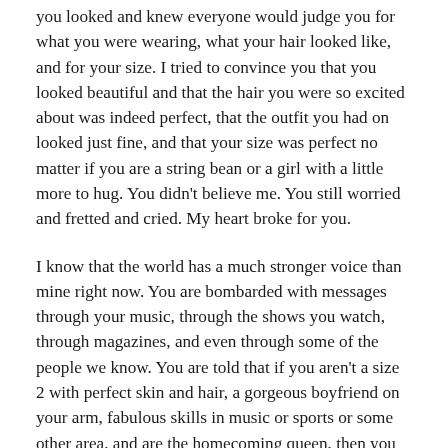you looked and knew everyone would judge you for what you were wearing, what your hair looked like, and for your size. I tried to convince you that you looked beautiful and that the hair you were so excited about was indeed perfect, that the outfit you had on looked just fine, and that your size was perfect no matter if you are a string bean or a girl with a little more to hug. You didn't believe me. You still worried and fretted and cried. My heart broke for you.
I know that the world has a much stronger voice than mine right now. You are bombarded with messages through your music, through the shows you watch, through magazines, and even through some of the people we know. You are told that if you aren't a size 2 with perfect skin and hair, a gorgeous boyfriend on your arm, fabulous skills in music or sports or some other area, and are the homecoming queen, then you are a loser. It makes me so sad for not only you, but for so